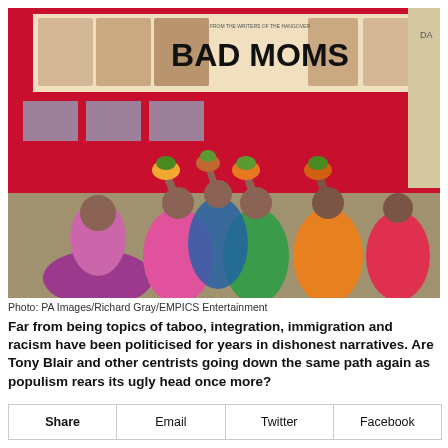[Figure (photo): Women in colorful saris carrying offerings on their heads in a street procession, with a red London double-decker bus behind them advertising the film 'Bad Moms']
Photo: PA Images/Richard Gray/EMPICS Entertainment
Far from being topics of taboo, integration, immigration and racism have been politicised for years in dishonest narratives. Are Tony Blair and other centrists going down the same path again as populism rears its ugly head once more?
| Share | Email | Twitter | Facebook |
| --- | --- | --- | --- |